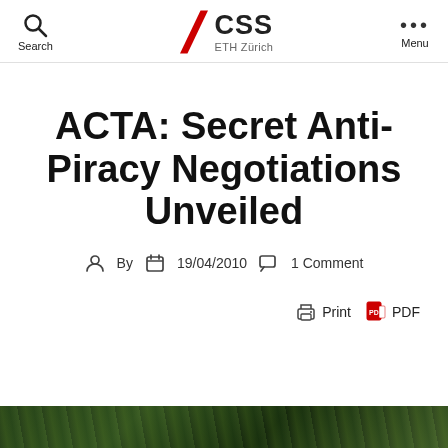Search | CSS ETH Zürich | Menu
ACTA: Secret Anti-Piracy Negotiations Unveiled
By  19/04/2010  1 Comment
Print  PDF
[Figure (photo): Dark green foliage/nature background image strip at bottom of page]